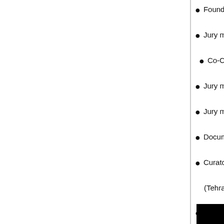Founder a…
Jury memb…
Co-Curato…
Jury memb…
Jury memb…
Documenta…
Curator of …
(Tehran Mus…
Co-Curato…
Digital Pho…